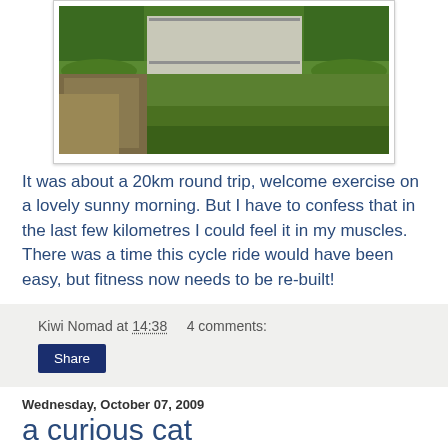[Figure (photo): Outdoor photo showing rocky/sandy ground with green grass on top, partial view of a concrete structure in the background]
It was about a 20km round trip, welcome exercise on a lovely sunny morning. But I have to confess that in the last few kilometres I could feel it in my muscles. There was a time this cycle ride would have been easy, but fitness now needs to be re-built!
Kiwi Nomad at 14:38   4 comments:
Share
Wednesday, October 07, 2009
a curious cat
[Figure (photo): Photo showing green leafy plant with white flowers, partial view of a cat underneath]